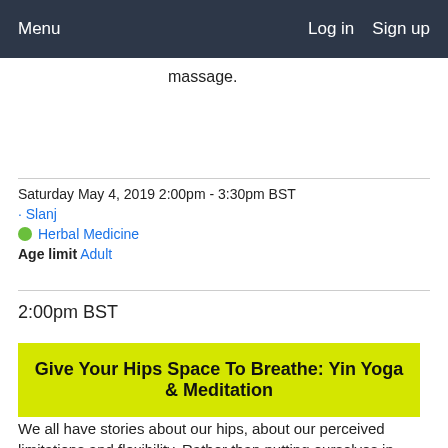Menu    Log in   Sign up
massage.
Saturday May 4, 2019 2:00pm - 3:30pm BST
Slanj
Herbal Medicine
Age limit Adult
2:00pm BST
Give Your Hips Space To Breathe: Yin Yoga & Meditation
We all have stories about our hips, about our perceived limitations and flexibility. Rather than putting ourselves in